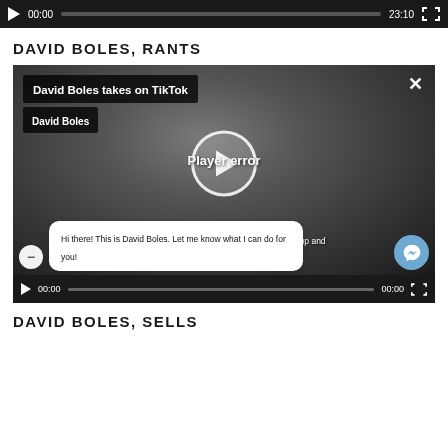[Figure (screenshot): Top video player bar showing play button, 00:00 timestamp, progress bar, 23:10 duration, and expand icon on dark background]
DAVID BOLES, RANTS
[Figure (screenshot): Embedded video player showing 'David Boles takes on TikTok' with Player error overlay message. Controls bar at bottom with 00:00 timestamps. Chat overlay with 'Hi there! This is David Boles. Let me know what I can do for you!' and Facebook Messenger button.]
DAVID BOLES, SELLS